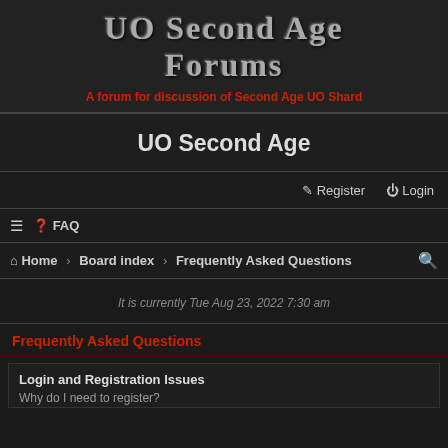UO Second Age Forums — A forum for discussion of Second Age UO Shard
UO Second Age
Register  Login
≡  FAQ
Home › Board index › Frequently Asked Questions
It is currently Tue Aug 23, 2022 7:30 am
Frequently Asked Questions
Login and Registration Issues
Why do I need to register?